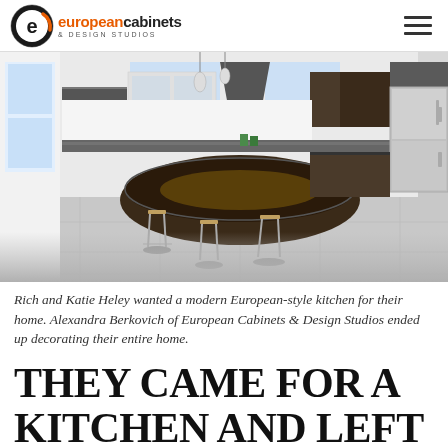european cabinets & DESIGN STUDIOS
[Figure (photo): Modern European-style kitchen with a large curved dark island, bar stools with orange seats, stainless steel refrigerator, pendant lights, and large windows.]
Rich and Katie Heley wanted a modern European-style kitchen for their home. Alexandra Berkovich of European Cabinets & Design Studios ended up decorating their entire home.
THEY CAME FOR A KITCHEN AND LEFT WITH NEW BEST FRIENDS